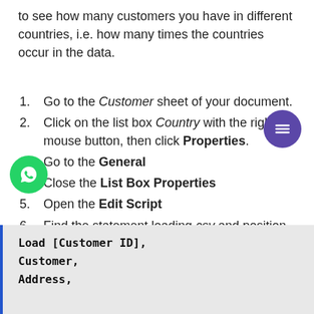to see how many customers you have in different countries, i.e. how many times the countries occur in the data.
Go to the Customer sheet of your document.
Click on the list box Country with the right mouse button, then click Properties.
Go to the General
Close the List Box Properties
Open the Edit Script
Find the statement loading csv and position cursor after the last field (Country), then type ", Country as CustomerCountry". The load statement now looks similar to the following:
Load [Customer ID],
Customer,
Address,